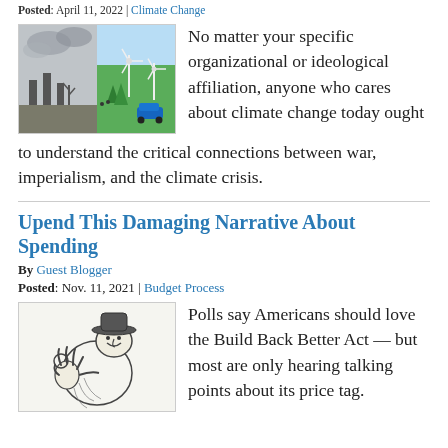Posted: April 11, 2022 | Climate Change
[Figure (illustration): Illustration showing contrast between industrial pollution (grey, smoky) on the left and green renewable energy landscape with wind turbines on the right]
No matter your specific organizational or ideological affiliation, anyone who cares about climate change today ought to understand the critical connections between war, imperialism, and the climate crisis.
Upend This Damaging Narrative About Spending
By Guest Blogger
Posted: Nov. 11, 2021 | Budget Process
[Figure (illustration): Black and white pencil illustration of a hunched figure (troll or witch-like) making an OK gesture with fingers]
Polls say Americans should love the Build Back Better Act — but most are only hearing talking points about its price tag.